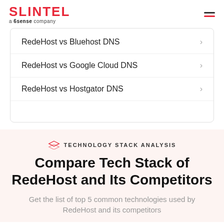SLINTEL a 6sense company
RedeHost vs Bluehost DNS
RedeHost vs Google Cloud DNS
RedeHost vs Hostgator DNS
TECHNOLOGY STACK ANALYSIS
Compare Tech Stack of RedeHost and Its Competitors
Get the list of top 5 common technologies used by RedeHost and its competitors